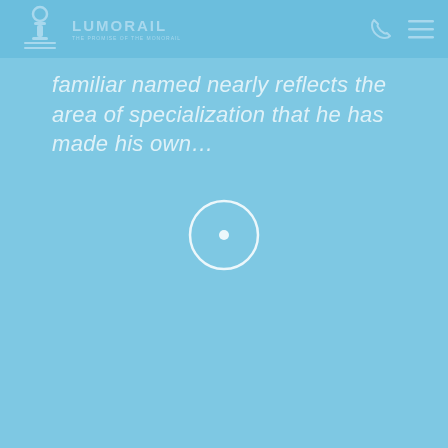LUMORAIL
familiar named nearly reflects the area of specialization that he has made his own…
[Figure (other): Loading spinner — white circle outline with a small white dot in the center, on a light blue background]